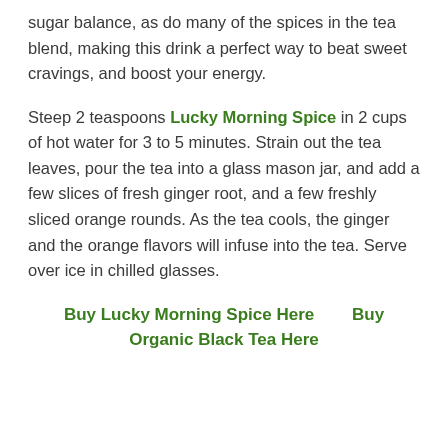sugar balance, as do many of the spices in the tea blend, making this drink a perfect way to beat sweet cravings, and boost your energy.
Steep 2 teaspoons Lucky Morning Spice in 2 cups of hot water for 3 to 5 minutes. Strain out the tea leaves, pour the tea into a glass mason jar, and add a few slices of fresh ginger root, and a few freshly sliced orange rounds. As the tea cools, the ginger and the orange flavors will infuse into the tea. Serve over ice in chilled glasses.
Buy Lucky Morning Spice Here        Buy Organic Black Tea Here